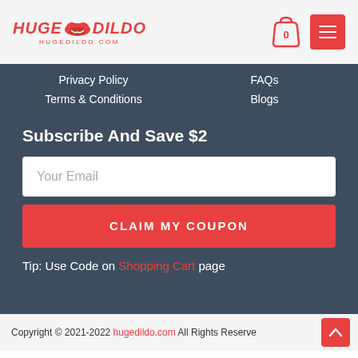HUGE DILDO HUGEDILDO.COM
Privacy Policy
FAQs
Terms & Conditions
Blogs
Subscribe And Save $2
Your Email
CLAIM MY COUPON
Tip: Use Code on Shopping Cart page
Copyright © 2021-2022 hugedildo.com All Rights Reserved